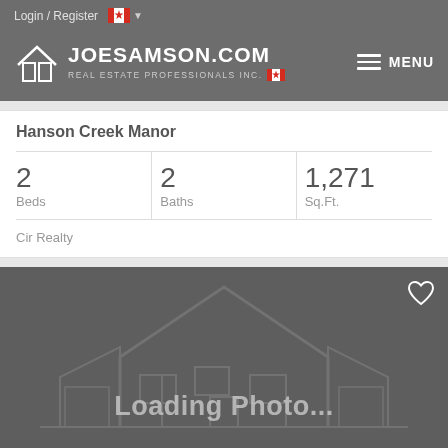Login / Register
[Figure (logo): JoeSamson.com Real Estate Professionals Inc. logo with house icon and Canadian flag]
Hanson Creek Manor
| Beds | Baths | Sq.Ft. |
| --- | --- | --- |
| 2 | 2 | 1,271 |
Cir Realty
[Figure (photo): Loading Photo... placeholder image with house outline watermark on dark grey background]